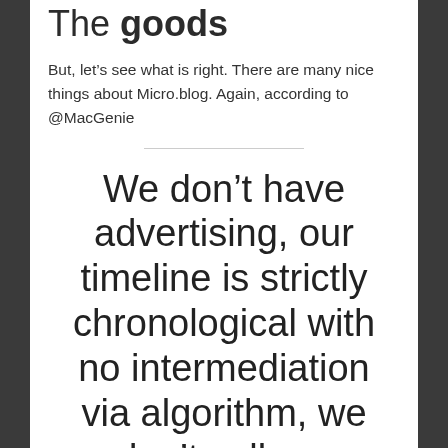The goods
But, let’s see what is right. There are many nice things about Micro.blog. Again, according to @MacGenie
We don’t have advertising, our timeline is strictly chronological with no intermediation via algorithm, we don’t sell our community members information, and we work